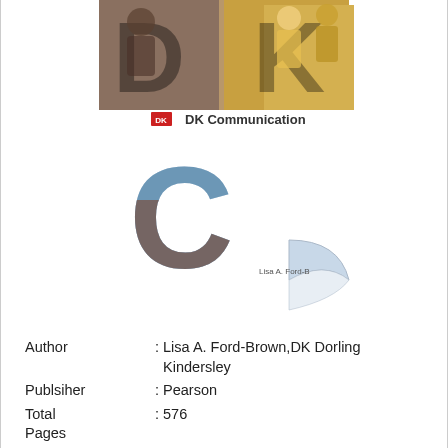[Figure (illustration): Book cover for 'DK Communication' by Lisa A. Ford-Brown and DK Dorling Kindersley. Shows large 'DK' letters with people photos, a 'C' letter with classroom photo, the DK Communication logo, and a page-curl graphic with author name.]
Author : Lisa A. Ford-Brown,DK Dorling Kindersley
Publsiher : Pearson
Total Pages : 576
Release : 2016-02-18
ISBN 10 : 0205940536
ISBN 13 : 9780205940530